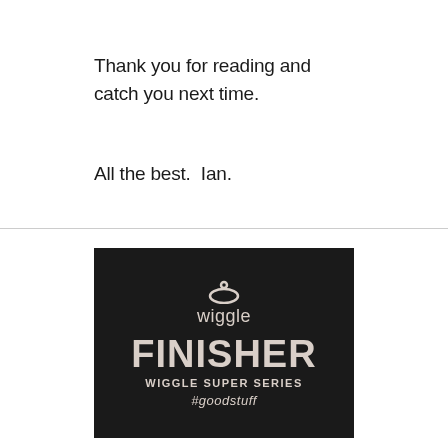Thank you for reading and catch you next time.
All the best.  Ian.
[Figure (logo): Wiggle Finisher Wiggle Super Series #goodstuff logo on black background]